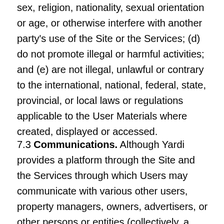sex, religion, nationality, sexual orientation or age, or otherwise interfere with another party's use of the Site or the Services; (d) do not promote illegal or harmful activities; and (e) are not illegal, unlawful or contrary to the international, national, federal, state, provincial, or local laws or regulations applicable to the User Materials where created, displayed or accessed.
7.3 Communications. Although Yardi provides a platform through the Site and the Services through which Users may communicate with various other users, property managers, owners, advertisers, or other persons or entities (collectively, a "third-party") (the "communications"), Yardi is not involved in those third-party communications and is not responsible or liable under any circumstances for the content of any third-party communications, or for any damage from communications by third-party. The content of